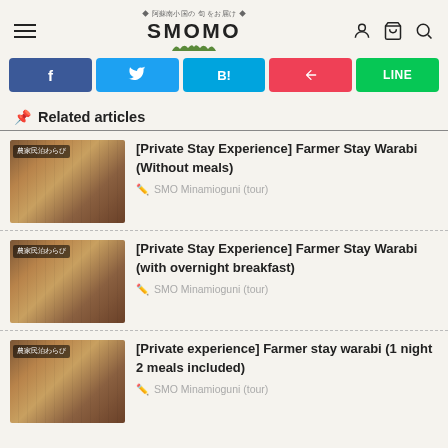SMOMO — 阿蘇南小国の旬をお届け
[Figure (screenshot): Social share buttons: Facebook (f), Twitter, Hatena Bookmark (B!), Pocket, LINE]
📌 Related articles
[Figure (photo): Interior of farmer stay Warabi showing wooden beams and traditional room. Overlay text: 農家民泊わらび]
[Private Stay Experience] Farmer Stay Warabi (Without meals)
SMO Minamioguni (tour)
[Figure (photo): Interior of farmer stay Warabi showing wooden beams and traditional room. Overlay text: 農家民泊わらび]
[Private Stay Experience] Farmer Stay Warabi (with overnight breakfast)
SMO Minamioguni (tour)
[Figure (photo): Interior of farmer stay Warabi showing wooden beams and traditional room. Overlay text: 農家民泊わらび]
[Private experience] Farmer stay warabi (1 night 2 meals included)
SMO Minamioguni (tour)